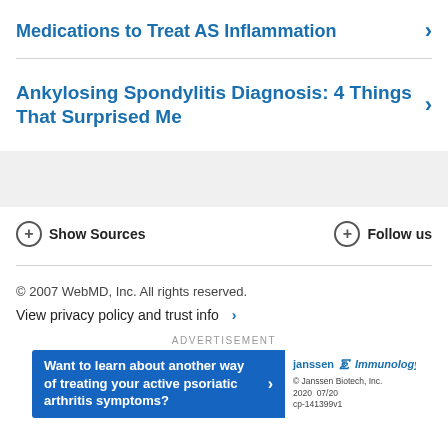Medications to Treat AS Inflammation
Ankylosing Spondylitis Diagnosis: 4 Things That Surprised Me
Show Sources
Follow us
© 2007 WebMD, Inc. All rights reserved.
View privacy policy and trust info
ADVERTISEMENT
Want to learn about another way of treating your active psoriatic arthritis symptoms?
Janssen Immunology © Janssen Biotech, Inc. 2020 07/20 cp-141399v1